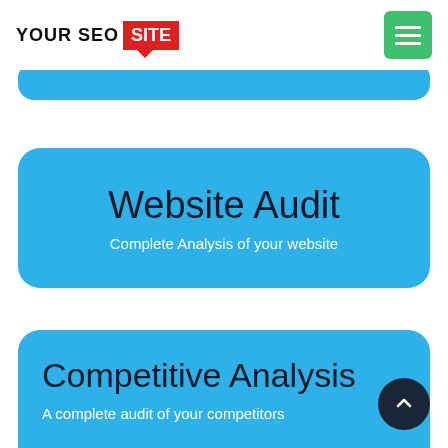YOUR SEO SITE
[Figure (other): Blue rounded banner strip near top of page]
Website Audit
Complete Analysis of your website
Competitive Analysis
A complete audit of your competitors